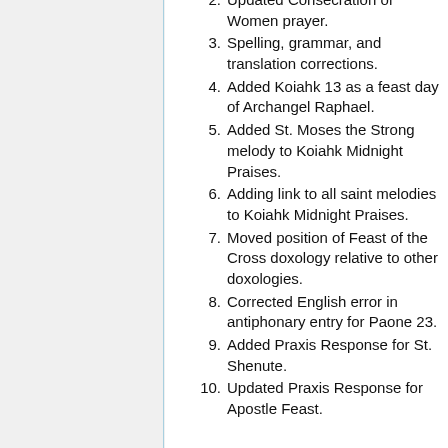2. Updated Consecration of Women prayer.
3. Spelling, grammar, and translation corrections.
4. Added Koiahk 13 as a feast day of Archangel Raphael.
5. Added St. Moses the Strong melody to Koiahk Midnight Praises.
6. Adding link to all saint melodies to Koiahk Midnight Praises.
7. Moved position of Feast of the Cross doxology relative to other doxologies.
8. Corrected English error in antiphonary entry for Paone 23.
9. Added Praxis Response for St. Shenute.
10. Updated Praxis Response for Apostle Feast.